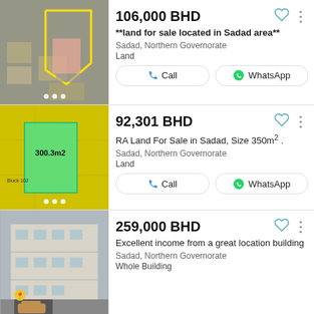[Figure (photo): Aerial satellite view of land plot with yellow boundary outline]
106,000 BHD
**land for sale located in Sadad area**
Sadad, Northern Governorate
Land
[Figure (photo): Map/plan view of green rectangular plot (300.3m2) on yellow background with block labels]
92,301 BHD
RA Land For Sale in Sadad, Size 350m² .
Sadad, Northern Governorate
Land
[Figure (photo): Photo of multi-storey residential building exterior with parked car]
259,000 BHD
Excellent income from a great location building
Sadad, Northern Governorate
Whole Building